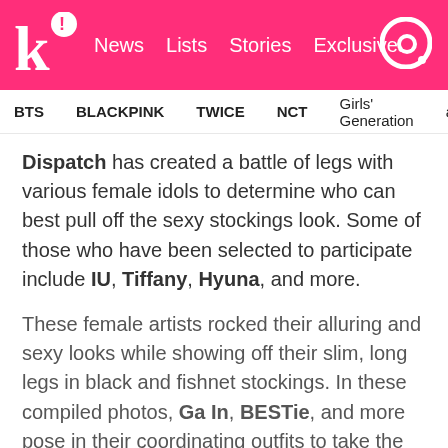Koreaboo | News  Lists  Stories  Exclusives
BTS  BLACKPINK  TWICE  NCT  Girls' Generation  aespa
Dispatch has created a battle of legs with various female idols to determine who can best pull off the sexy stockings look. Some of those who have been selected to participate include IU, Tiffany, Hyuna, and more.
These female artists rocked their alluring and sexy looks while showing off their slim, long legs in black and fishnet stockings. In these compiled photos, Ga In, BESTie, and more pose in their coordinating outfits to take the crown of this “Who Wore It Better.”